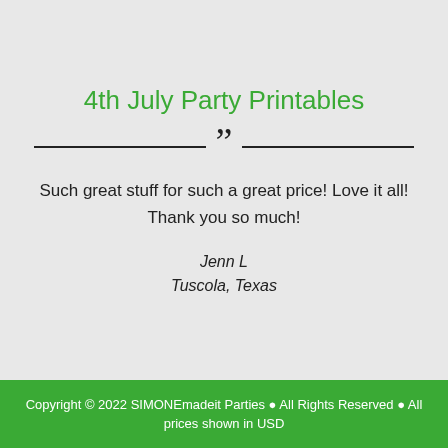4th July Party Printables
Such great stuff for such a great price! Love it all! Thank you so much!
Jenn L
Tuscola, Texas
Copyright © 2022 SIMONEmadeit Parties • All Rights Reserved • All prices shown in USD